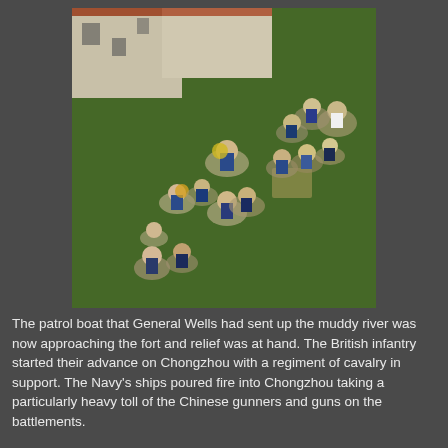[Figure (photo): Top-down photograph of miniature wargaming figurines on a green felt surface. The miniatures appear to be 19th-century soldiers in blue and white uniforms, some with yellow/gold accents, arranged in a tactical formation. White model buildings are visible in the upper left corner of the image.]
The patrol boat that General Wells had sent up the muddy river was now approaching the fort and relief was at hand. The British infantry started their advance on Chongzhou with a regiment of cavalry in support. The Navy's ships poured fire into Chongzhou taking a particularly heavy toll of the Chinese gunners and guns on the battlements.